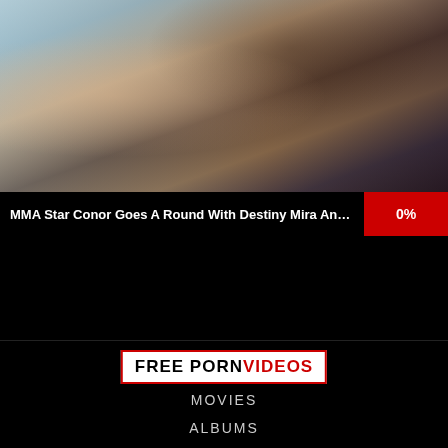[Figure (photo): Video thumbnail showing two people, adult content website screenshot]
MMA Star Conor Goes A Round With Destiny Mira And Her Ti... 0%
[Figure (logo): FREE PORN VIDEOS logo with red border and red VIDEOS text]
MOVIES
ALBUMS